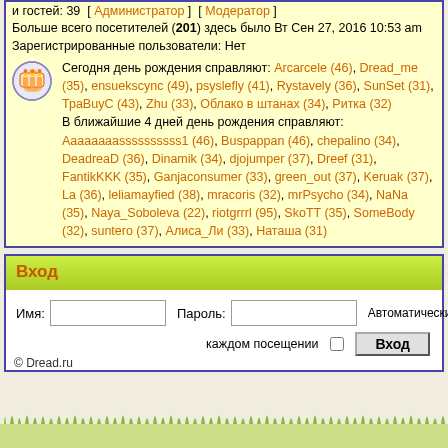и гостей: 39  [ Администратор ]  [ Модератор ]
Больше всего посетителей (201) здесь было Вт Сен 27, 2016 10:53 am
Зарегистрированные пользователи: Нет
Сегодня день рождения справляют: Arcarcele (46), Dread_me (35), ensuekscync (49), psyslefly (41), Rystavely (36), SunSet (31), ТраBuyC (43), Zhu (33), Облако в штанах (34), Ритка (32) В ближайшие 4 дней день рождения справляют: Aaaaaaaassssssssss1 (46), Buspappan (46), chepalino (34), DeadreaD (36), Dinamik (34), djojumper (37), Dreef (31), FantikKKK (35), Ganjaconsumer (33), green_out (37), Keruak (37), La (36), leliamayfied (38), mracoris (32), mrPsycho (34), NaNa (35), Naya_Soboleva (22), riotgrrrl (95), SkoTT (35), SomeBody (32), suntero (37), Алиса_Ли (33), Наташа (31)
Вход
Имя: [input] Пароль: [input] Автоматически входить при каждом посещении [checkbox] [Вход button]
© Dread.ru